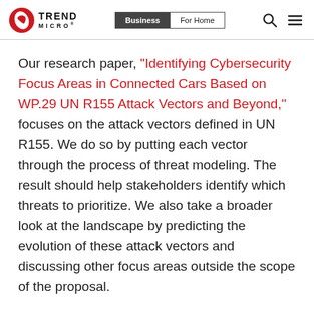Trend Micro | Business | For Home
Our research paper, “Identifying Cybersecurity Focus Areas in Connected Cars Based on WP.29 UN R155 Attack Vectors and Beyond,” focuses on the attack vectors defined in UN R155. We do so by putting each vector through the process of threat modeling. The result should help stakeholders identify which threats to prioritize. We also take a broader look at the landscape by predicting the evolution of these attack vectors and discussing other focus areas outside the scope of the proposal.